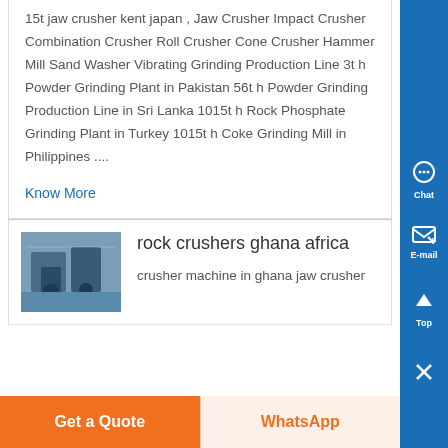15t jaw crusher kent japan , Jaw Crusher Impact Crusher Combination Crusher Roll Crusher Cone Crusher Hammer Mill Sand Washer Vibrating Grinding Production Line 3t h Powder Grinding Plant in Pakistan 56t h Powder Grinding Production Line in Sri Lanka 1015t h Rock Phosphate Grinding Plant in Turkey 1015t h Coke Grinding Mill in Philippines ....
Know More
rock crushers ghana africa
crusher machine in ghana jaw crusher
[Figure (photo): Photo of rock crusher machinery in industrial setting]